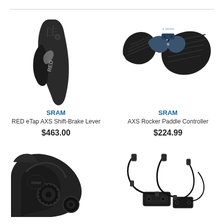[Figure (photo): SRAM RED eTap AXS Shift-Brake Lever product photo on white background]
SRAM
RED eTap AXS Shift-Brake Lever
$463.00
[Figure (photo): SRAM AXS Rocker Paddle Controller product photo on white background]
SRAM
AXS Rocker Paddle Controller
$224.99
[Figure (photo): SRAM derailleur product photo — black mechanical component partially visible, bottom of page]
[Figure (photo): SRAM cable/wiring kit product photo — cables and mounts on white background, bottom of page]